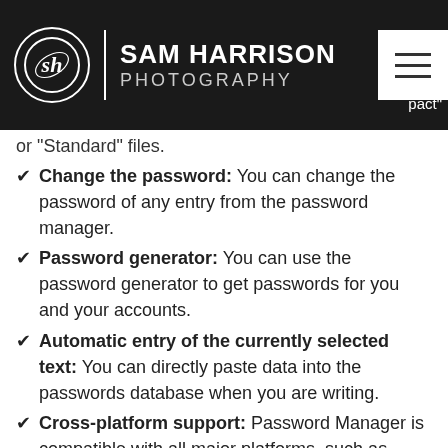SAM HARRISON PHOTOGRAPHY
or "Standard" files.
Change the password: You can change the password of any entry from the password manager.
Password generator: You can use the password generator to get passwords for you and your accounts.
Automatic entry of the currently selected text: You can directly paste data into the passwords database when you are writing.
Cross-platform support: Password Manager is compatible with all major platforms, such as Windows, Mac OS X and Linux.
No malware! Password Manager is designed to provide a safe and secure password database, so you can use it confidently.